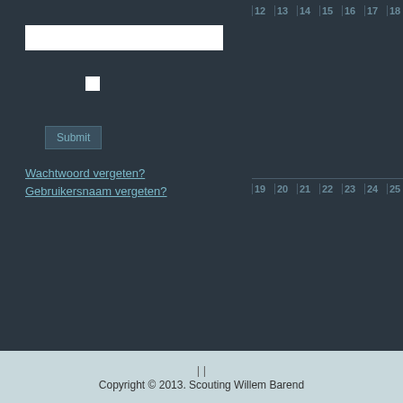[Figure (screenshot): Login form with text input, checkbox, submit button, and forgot password links on dark background]
[Figure (screenshot): Calendar grid showing dates 12-18, 19-25, 26-30 and July columns on dark background]
Wachtwoord vergeten?
Gebruikersnaam vergeten?
[Figure (infographic): Legend panel showing color swatches for: DEFAULT (black), welpen (light blue), scouts (cyan), Wilde Vaart (blue), Tasmanstam (dark blue), Groep (red), Leiding en Bestuur (green), Sinterklaas (black), All Categories... (light gray)]
| |
Copyright © 2013. Scouting Willem Barend